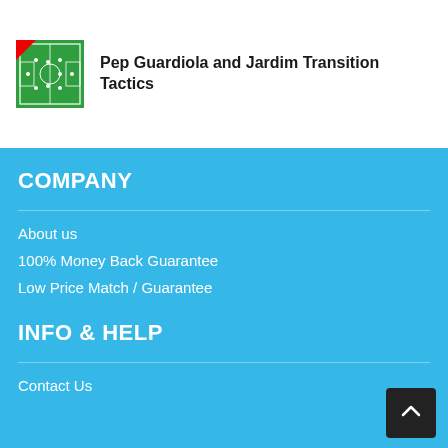[Figure (illustration): Thumbnail image of a football tactics diagram on a green pitch with red banner in top-left corner]
Pep Guardiola and Jardim Transition Tactics
COMPANY
About us
100% Money Back Guarantee
Low Price Match / Guarantee
INFO & HELP
Contact Us